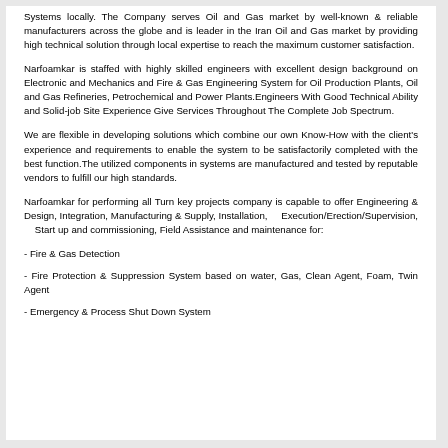Systems locally. The Company serves Oil and Gas market by well-known & reliable manufacturers across the globe and is leader in the Iran Oil and Gas market by providing high technical solution through local expertise to reach the maximum customer satisfaction.
Narfoamkar is staffed with highly skilled engineers with excellent design background on Electronic and Mechanics and Fire & Gas Engineering System for Oil Production Plants, Oil and Gas Refineries, Petrochemical and Power Plants.Engineers With Good Technical Ability and Solid-job Site Experience Give Services Throughout The Complete Job Spectrum.
We are flexible in developing solutions which combine our own Know-How with the client's experience and requirements to enable the system to be satisfactorily completed with the best function.The utilized components in systems are manufactured and tested by reputable vendors to fulfill our high standards.
Narfoamkar for performing all Turn key projects company is capable to offer Engineering & Design, Integration, Manufacturing & Supply, Installation, Execution/Erection/Supervision, Start up and commissioning, Field Assistance and maintenance for:
- Fire & Gas Detection
- Fire Protection & Suppression System based on water, Gas, Clean Agent, Foam, Twin Agent
- Emergency & Process Shut Down System